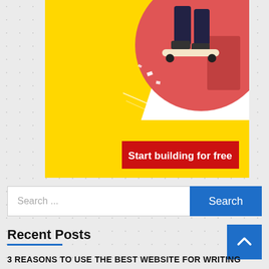[Figure (illustration): Colorful illustration of a skateboarder performing a trick, with yellow background and red circle, above a red 'Start building for free' button]
Search ...
Search
Recent Posts
3 REASONS TO USE THE BEST WEBSITE FOR WRITING